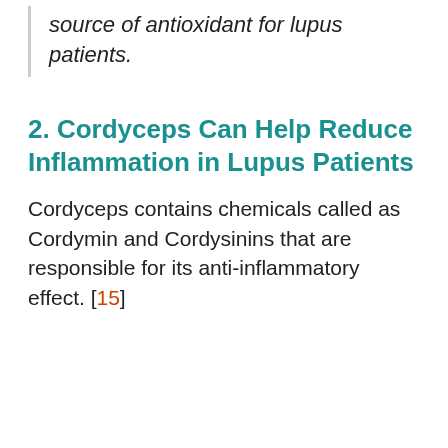source of antioxidant for lupus patients.
2. Cordyceps Can Help Reduce Inflammation in Lupus Patients
Cordyceps contains chemicals called as Cordymin and Cordysinins that are responsible for its anti-inflammatory effect. [15]